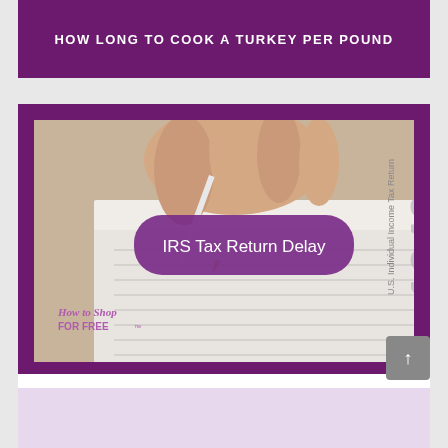HOW LONG TO COOK A TURKEY PER POUND
[Figure (illustration): IRS Tax Return Delay thumbnail image showing a hand writing on a U.S. 1040 Individual Income Tax Return form, with a purple rounded rectangle overlay reading 'IRS Tax Return Delay' and a 'How to Shop FOR FREE' watermark in the lower left corner]
IRS TAX SEASON DELAYED – WILL START FEB 12
[Figure (illustration): Partial view of a third article card with light purple/lavender background, partially visible at the bottom of the page]